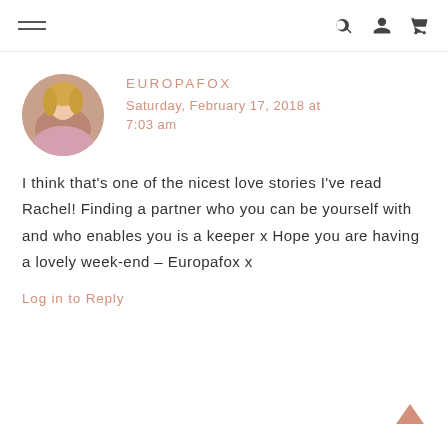Navigation menu, search, user, cart icons
[Figure (photo): Circular avatar photo of a blonde woman in a pink outfit]
EUROPAFOX
Saturday, February 17, 2018 at 7:03 am
I think that’s one of the nicest love stories I’ve read Rachel! Finding a partner who you can be yourself with and who enables you is a keeper x Hope you are having a lovely week-end – Europafox x
Log in to Reply